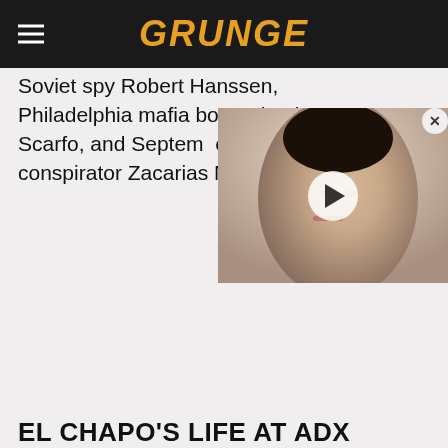GRUNGE
Soviet spy Robert Hanssen, Philadelphia mafia boss Nicodemo Scarfo, and September 11 conspirator Zacarias Moussaoui.
[Figure (photo): Video overlay thumbnail showing a woman with short dark hair, with a circular play button in the center. A close button (X) is in the top-right corner.]
EL CHAPO'S LIFE AT ADX